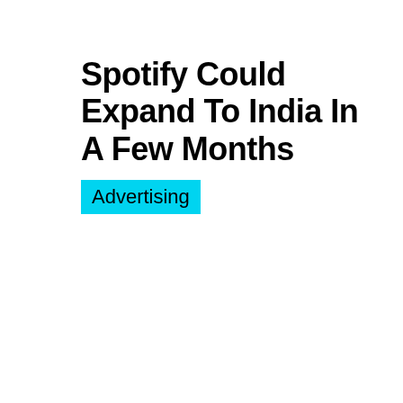Spotify Could Expand To India In A Few Months
Advertising